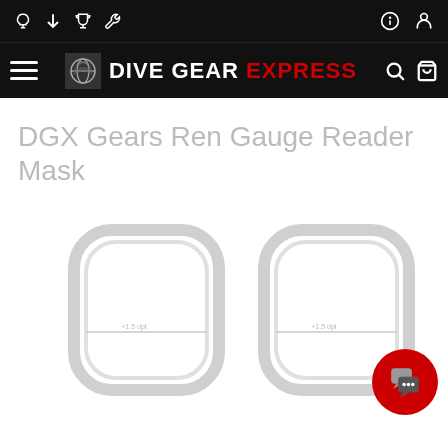DIVE GEAR EXPRESS
DGX Gears Ren Gauge Reader Mask
[Figure (illustration): Two diving mask lens frames shown side by side, white/light gray outlines on white background, split-lens style with a horizontal divider line indicating gauge reader bifocal design]